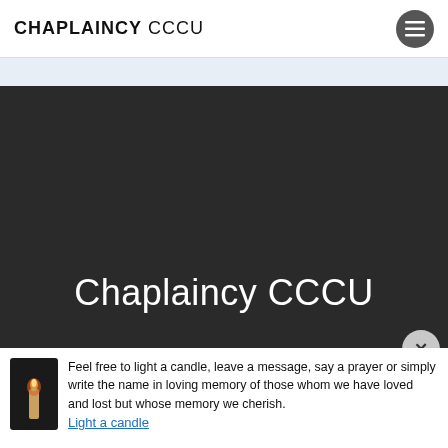CHAPLAINCY CCCU
[Figure (photo): Dark hero image area for Chaplaincy CCCU website]
Chaplaincy CCCU
Feel free to light a candle, leave a message, say a prayer or simply write the name in loving memory of those whom we have loved and lost but whose memory we cherish. Light a candle